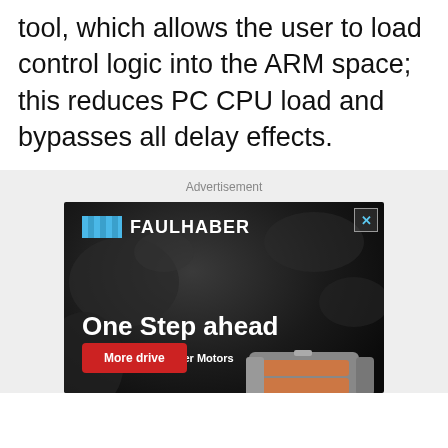tool, which allows the user to load control logic into the ARM space; this reduces PC CPU load and bypasses all delay effects.
[Figure (illustration): FAULHABER advertisement: dark rocky background with text 'One Step ahead', 'FAULHABER Stepper Motors', a red 'More drive' button, and an image of a stepper motor on the right. FAULHABER logo with blue striped rectangle in top left corner. Close (X) button in top right.]